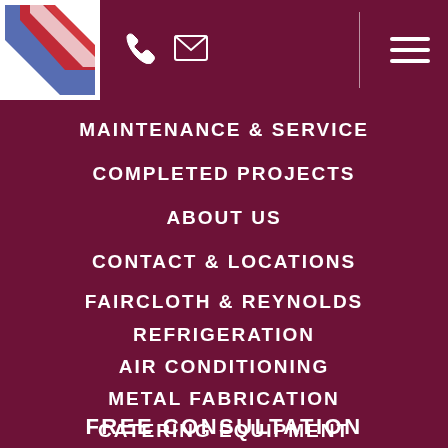[Figure (logo): Faircloth & Reynolds company logo with diagonal red and blue stripes on white background]
Navigation header with phone icon, mail icon, vertical divider, and hamburger menu
MAINTENANCE & SERVICE
COMPLETED PROJECTS
ABOUT US
CONTACT & LOCATIONS
FAIRCLOTH & REYNOLDS
REFRIGERATION
AIR CONDITIONING
METAL FABRICATION
CATERING EQUIPMENT
FREE CONSULTATION